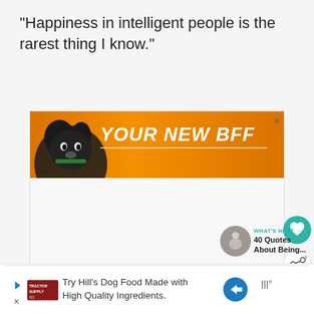"Happiness in intelligent people is the rarest thing I know."
[Figure (screenshot): Orange advertisement banner with a black dog image and text 'YOUR NEW BFF']
[Figure (other): Heart (like) button - teal circular button with heart icon]
[Figure (other): Share button - white circular button with share icon]
[Figure (other): What's Next section with thumbnail and text '40 Quotes About Being...']
[Figure (screenshot): Bottom advertisement: Try Hill's Dog Food Made with High Quality Ingredients. With Tractor Supply logo, blue arrow icon, and weather widget.]